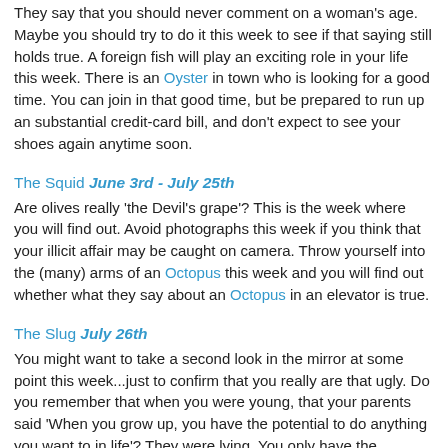They say that you should never comment on a woman's age. Maybe you should try to do it this week to see if that saying still holds true. A foreign fish will play an exciting role in your life this week. There is an Oyster in town who is looking for a good time. You can join in that good time, but be prepared to run up an substantial credit-card bill, and don't expect to see your shoes again anytime soon.
The Squid June 3rd - July 25th
Are olives really 'the Devil's grape'? This is the week where you will find out. Avoid photographs this week if you think that your illicit affair may be caught on camera. Throw yourself into the (many) arms of an Octopus this week and you will find out whether what they say about an Octopus in an elevator is true.
The Slug July 26th
You might want to take a second look in the mirror at some point this week...just to confirm that you really are that ugly. Do you remember that when you were young, that your parents said 'When you grow up, you have the potential to do anything you want to in life'? They were lying. You only have the potential to be a failure. You've been thinking about